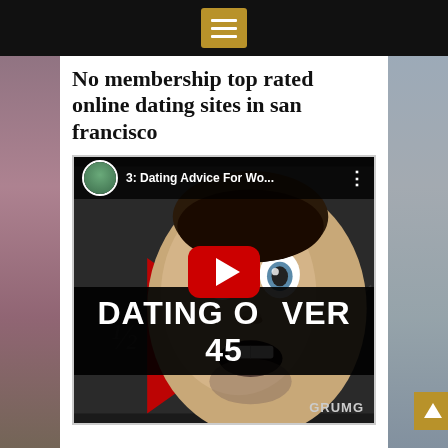Navigation menu button (hamburger icon)
No membership top rated online dating sites in san francisco
[Figure (screenshot): YouTube video thumbnail showing a man with wide eyes making an exaggerated expression, with title bar reading '3: Dating Advice For Wo...' and overlay text 'DATING OVER 45' with a red YouTube play button in center, and 'GRUMG' watermark at bottom right]